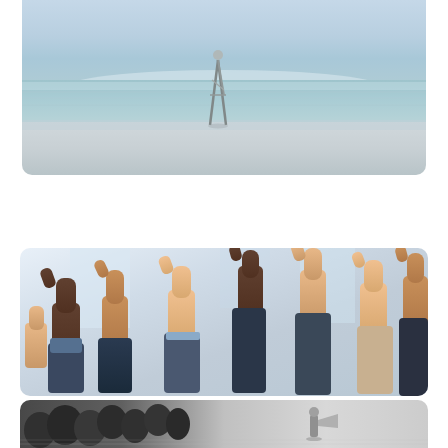[Figure (photo): A person walking on a beach near the ocean shoreline, viewed from a distance. The scene shows a wide open beach with calm water and a pale sky.]
[Figure (photo): Multiple hands raised with thumbs up gesture, showing diverse group of people in business attire showing approval or agreement in an indoor setting.]
[Figure (photo): Aerial or elevated view of a large crowd of businesspeople on one side and a single person with a megaphone/loudspeaker speaking to the group on the other side.]